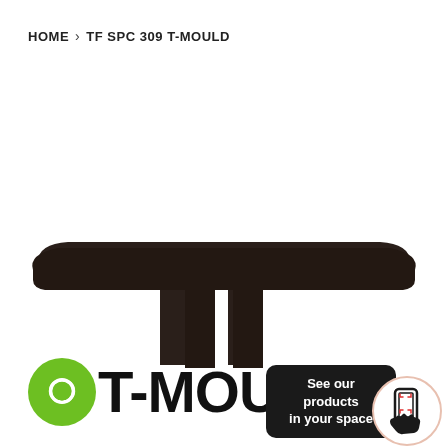HOME › TF SPC 309 T-MOULD
[Figure (illustration): T-mould cross-section profile diagram shown in dark brown/black color, viewed from the front, with a wide flat top cap and two downward stems forming a T-shape cross section.]
T-MOULD
See our products in your space